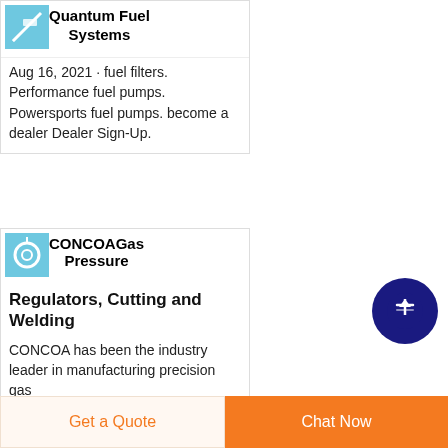[Figure (screenshot): Small blue thumbnail image for Quantum Fuel Systems listing]
Quantum Fuel Systems
Aug 16, 2021 · fuel filters. Performance fuel pumps. Powersports fuel pumps. become a dealer Dealer Sign-Up.
[Figure (screenshot): Small blue thumbnail image for CONCOAGas listing]
CONCOAGas Pressure Regulators, Cutting and Welding
CONCOA has been the industry leader in manufacturing precision gas
[Figure (other): Dark navy circular scroll-to-top button with upward arrow]
Get a Quote
Chat Now